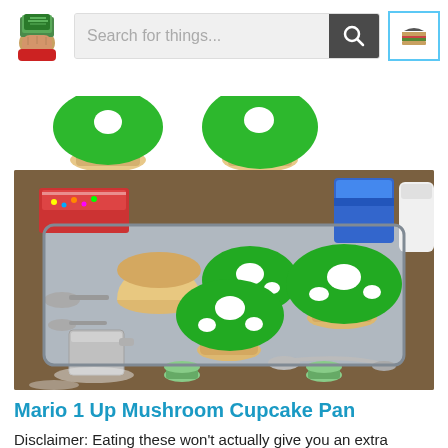Search for things...
[Figure (photo): Top portion showing two Mario 1-Up mushroom cupcakes with green icing on white background]
[Figure (photo): Photo of Mario 1-Up mushroom cupcakes on a baking tray. Green icing mushroom caps with white dots sit atop muffin-shaped bases. A measuring cup, spoons, and baking ingredients are visible around the tray on a wooden surface.]
Mario 1 Up Mushroom Cupcake Pan
Disclaimer: Eating these won't actually give you an extra